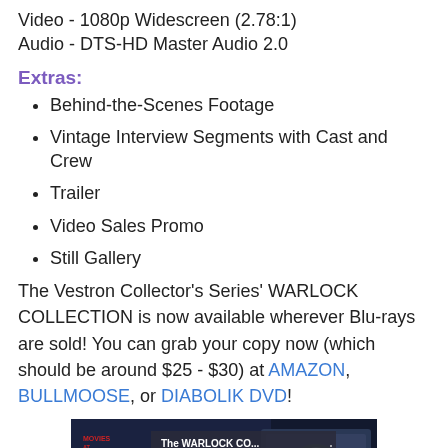Video - 1080p Widescreen (2.78:1)
Audio - DTS-HD Master Audio 2.0
Extras:
Behind-the-Scenes Footage
Vintage Interview Segments with Cast and Crew
Trailer
Video Sales Promo
Still Gallery
The Vestron Collector's Series' WARLOCK COLLECTION is now available wherever Blu-rays are sold! You can grab your copy now (which should be around $25 - $30) at AMAZON, BULLMOOSE, or DIABOLIK DVD!
[Figure (screenshot): Video thumbnail showing The WARLOCK COLLECTION 3 FILM SET with Movies at Midnight branding, dark background with Warlock Collection title text and blu-ray cover art visible]